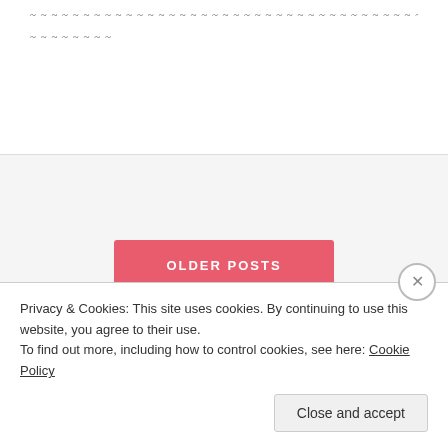~ ~ ~ ~ ~ ~ ~ ~ ~ ~ ~ ~ ~ ~ ~ ~ ~ ~ ~ ~ ~ ~ ~ ~ ~ ~ ~ ~ ~ ~ ~ ~ ~ ~ ~ ~ ~ ~ ~ ~ ~ ~ ~ ~ ~ ~ ~
~ ~ ~ ~ ~ ~ ~ ~
[Figure (screenshot): OLDER POSTS button — a pink/red rounded rectangle button with white uppercase text reading 'OLDER POSTS']
Privacy & Cookies: This site uses cookies. By continuing to use this website, you agree to their use.
To find out more, including how to control cookies, see here: Cookie Policy
Close and accept